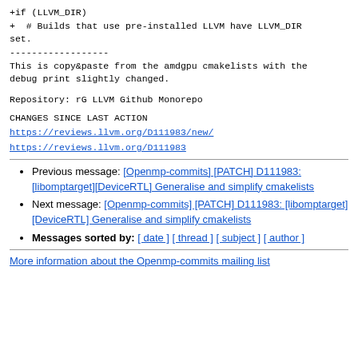+if (LLVM_DIR)
+  # Builds that use pre-installed LLVM have LLVM_DIR set.
------------------
This is copy&paste from the amdgpu cmakelists with the debug print slightly changed.
Repository:
  rG LLVM Github Monorepo
CHANGES SINCE LAST ACTION
  https://reviews.llvm.org/D111983/new/
https://reviews.llvm.org/D111983
Previous message: [Openmp-commits] [PATCH] D111983: [libomptarget][DeviceRTL] Generalise and simplify cmakelists
Next message: [Openmp-commits] [PATCH] D111983: [libomptarget][DeviceRTL] Generalise and simplify cmakelists
Messages sorted by: [ date ] [ thread ] [ subject ] [ author ]
More information about the Openmp-commits mailing list